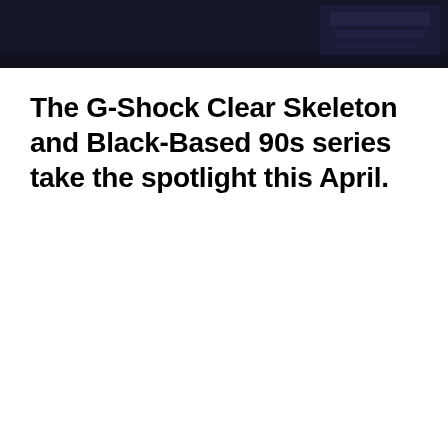[Figure (photo): Dark header image with a G-Shock watch visible in the background, predominantly dark navy/black tones]
The G-Shock Clear Skeleton and Black-Based 90s series take the spotlight this April.